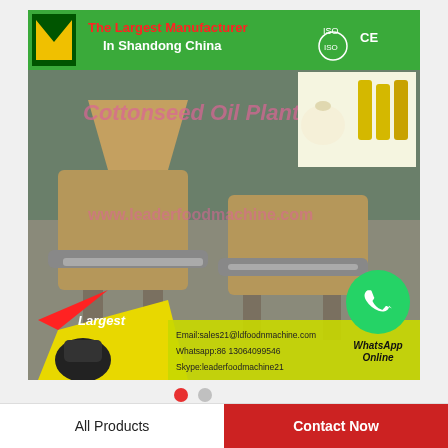[Figure (photo): Industrial oil press machine photo with green banner header reading 'The Largest Manufacturer In Shandong China' with ISO and CE logos, overlay text about cottonseed oil plant, contact info: Email:sales21@ldfoodnmachine.com, Whatsapp:86 13064099546, Skype:leaderfoodmachine21, 'Largest' badge, fist graphic, WhatsApp Online green circle icon]
Factory promotion price gold refining equipment
All Products
Contact Now